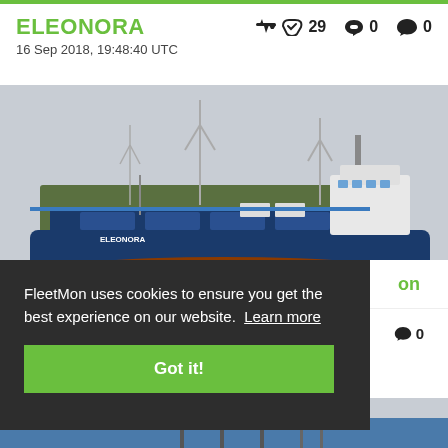ELEONORA
16 Sep 2018, 19:48:40 UTC
👍 29  ❤ 0  💬 0
[Figure (photo): Blue cargo vessel named ELEONORA sailing on a river/canal with wind turbines and trees in background, overcast sky]
FleetMon uses cookies to ensure you get the best experience on our website. Learn more
Got it!
on
💬 0